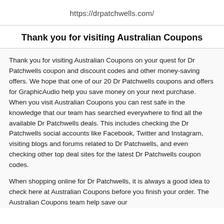https://drpatchwells.com/
Thank you for visiting Australian Coupons
Thank you for visiting Australian Coupons on your quest for Dr Patchwells coupon and discount codes and other money-saving offers. We hope that one of our 20 Dr Patchwells coupons and offers for GraphicAudio help you save money on your next purchase. When you visit Australian Coupons you can rest safe in the knowledge that our team has searched everywhere to find all the available Dr Patchwells deals. This includes checking the Dr Patchwells social accounts like Facebook, Twitter and Instagram, visiting blogs and forums related to Dr Patchwells, and even checking other top deal sites for the latest Dr Patchwells coupon codes.
When shopping online for Dr Patchwells, it is always a good idea to check here at Australian Coupons before you finish your order. The Australian Coupons team help save our